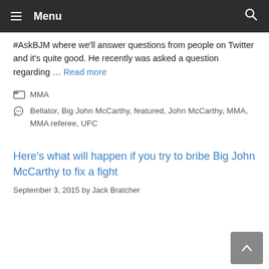Menu
#AskBJM where we'll answer questions from people on Twitter and it's quite good. He recently was asked a question regarding … Read more
MMA
Bellator, Big John McCarthy, featured, John McCarthy, MMA, MMA referee, UFC
Here's what will happen if you try to bribe Big John McCarthy to fix a fight
September 3, 2015  by Jack Bratcher